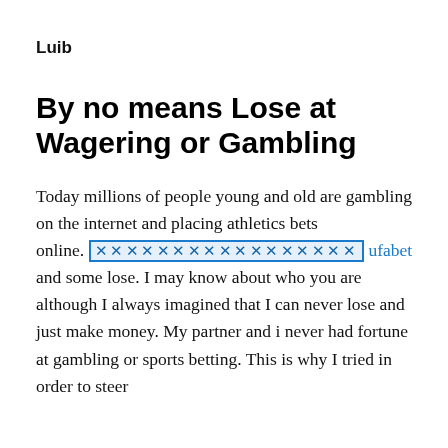Luib
By no means Lose at Wagering or Gambling
Today millions of people young and old are gambling on the internet and placing athletics bets online. xxxxxxxxxxxxxxxx ufabet and some lose. I may know about who you are although I always imagined that I can never lose and just make money. My partner and i never had fortune at gambling or sports betting. This is why I tried in order to steer